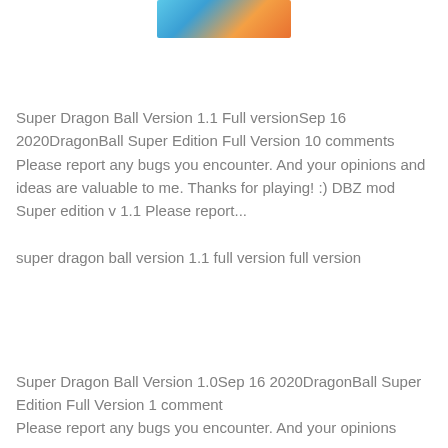[Figure (illustration): Anime/Dragon Ball style illustration showing characters with blue and orange color scheme]
Super Dragon Ball Version 1.1 Full versionSep 16 2020DragonBall Super Edition Full Version 10 comments Please report any bugs you encounter. And your opinions and ideas are valuable to me. Thanks for playing! :) DBZ mod Super edition v 1.1 Please report...
super dragon ball version 1.1 full version full version
Super Dragon Ball Version 1.0Sep 16 2020DragonBall Super Edition Full Version 1 comment Please report any bugs you encounter. And your opinions